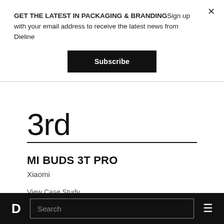GET THE LATEST IN PACKAGING & BRANDINGSign up with your email address to receive the latest news from Dieline
Subscribe
3rd
MI BUDS 3T PRO
Xiaomi
View Case Study
D  Search  ☰